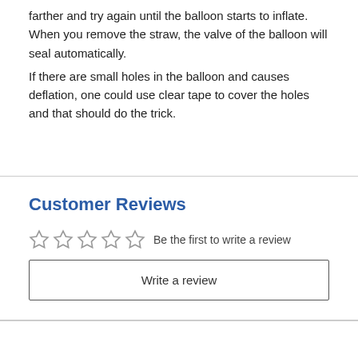farther and try again until the balloon starts to inflate. When you remove the straw, the valve of the balloon will seal automatically. If there are small holes in the balloon and causes deflation, one could use clear tape to cover the holes and that should do the trick.
Customer Reviews
☆☆☆☆☆  Be the first to write a review
Write a review